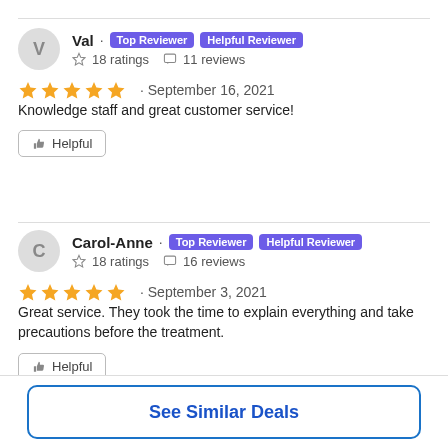Val · Top Reviewer · Helpful Reviewer · ☆ 18 ratings · 💬 11 reviews
★★★★★ · September 16, 2021
Knowledge staff and great customer service!
👍 Helpful
Carol-Anne · Top Reviewer · Helpful Reviewer · ☆ 18 ratings · 💬 16 reviews
★★★★★ · September 3, 2021
Great service. They took the time to explain everything and take precautions before the treatment.
👍 Helpful
See Similar Deals